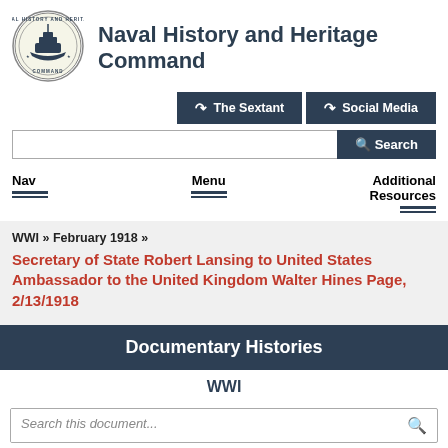[Figure (logo): Naval History and Heritage Command circular seal with ship illustration]
Naval History and Heritage Command
The Sextant | Social Media
Search
Nav | Menu | Additional Resources
WWI » February 1918 »
Secretary of State Robert Lansing to United States Ambassador to the United Kingdom Walter Hines Page, 2/13/1918
Documentary Histories
WWI
Search this document...